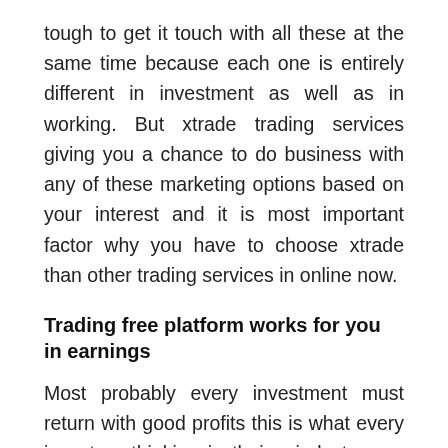tough to get it touch with all these at the same time because each one is entirely different in investment as well as in working. But xtrade trading services giving you a chance to do business with any of these marketing options based on your interest and it is most important factor why you have to choose xtrade than other trading services in online now.
Trading free platform works for you in earnings
Most probably every investment must return with good profits this is what every investors thinking in their mind at every stroke but it is completely based on yours. The xtrade scam gives you mental free trading services which are ready to take care of